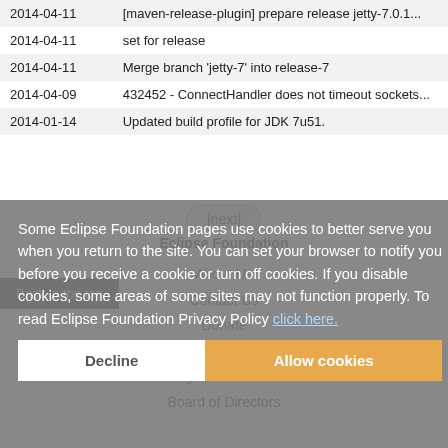| Date | Commit message |
| --- | --- |
| 2014-04-11 | [maven-release-plugin] prepare release jetty-7.0.1... |
| 2014-04-11 | set for release |
| 2014-04-11 | Merge branch 'jetty-7' into release-7 |
| 2014-04-09 | 432452 - ConnectHandler does not timeout sockets... |
| 2014-01-14 | Updated build profile for JDK 7u51. |
[next]
Back to the top
Some Eclipse Foundation pages use cookies to better serve you when you return to the site. You can set your browser to notify you before you receive a cookie or turn off cookies. If you disable cookies, some areas of some sites may not function properly. To read Eclipse Foundation Privacy Policy click here.
Decline
Allow cookies
Eclipse Foundation
About Us
Contact Us
Donate
Governance
Logo and Artwork
Board of Directors